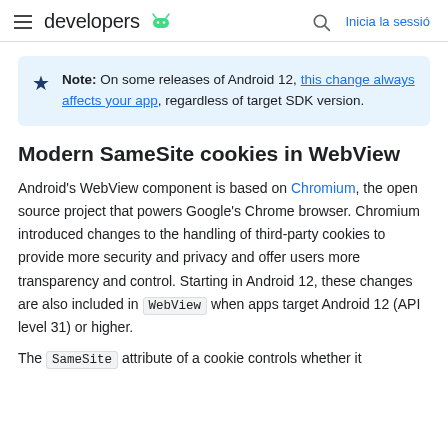developers  [Android logo]   [search icon]   Inicia la sessió
Note: On some releases of Android 12, this change always affects your app, regardless of target SDK version.
Modern SameSite cookies in WebView
Android's WebView component is based on Chromium, the open source project that powers Google's Chrome browser. Chromium introduced changes to the handling of third-party cookies to provide more security and privacy and offer users more transparency and control. Starting in Android 12, these changes are also included in WebView when apps target Android 12 (API level 31) or higher.
The SameSite attribute of a cookie controls whether it